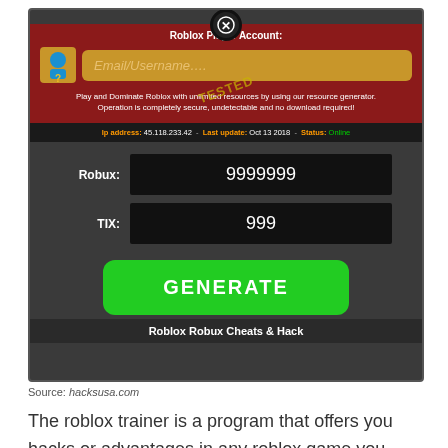[Figure (screenshot): A Roblox hack/cheat generator interface showing 'Roblox Player Account' header with Email/Username field, Robux: 9999999 and TIX: 999 fields, a green GENERATE button, and 'Roblox Robux Cheats & Hack' footer. IP address: 45.118.233.42, Last update: Oct 13 2018, Status: Online. Watermark: TESTED.]
Source: hacksusa.com
The roblox trainer is a program that offers you hacks or advantages in any roblox game you play. However, i do not recommend you to [X]e.